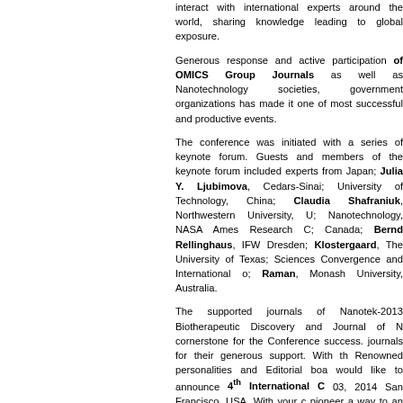interact with international experts around the world, sharing knowledge leading to global exposure.
Generous response and active participation of OMICS Group Journals as well as Nanotechnology societies, government organizations has made it one of most successful and productive events.
The conference was initiated with a series of keynote forum. Guests and members of the keynote forum included experts from Japan; Julia Y. Ljubimova, Cedars-Sinai; University of Technology, China; Claudia Shafraniuk, Northwestern University, U; Nanotechnology, NASA Ames Research C; Canada; Bernd Rellinghaus, IFW Dresden; Klostergaard, The University of Texas; Sciences Convergence and International o; Raman, Monash University, Australia.
The supported journals of Nanotek-2013 Biotherapeutic Discovery and Journal of N cornerstone for the Conference success. journals for their generous support. With th Renowned personalities and Editorial boa would like to announce 4th International C 03, 2014 San Francisco, USA. With your c pioneer a way to an outstanding event.